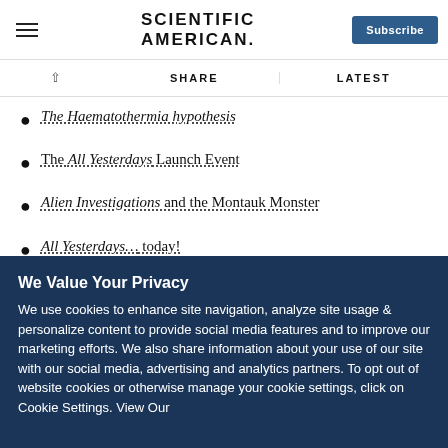Scientific American
The Haematothermia hypothesis
The All Yesterdays Launch Event
Alien Investigations and the Montauk Monster
All Yesterdays… today!
All Yesterdays: Unique and Speculative Views of Dinosaurs and Other Prehistoric Animals – the book and the launch event
We Value Your Privacy
We use cookies to enhance site navigation, analyze site usage & personalize content to provide social media features and to improve our marketing efforts. We also share information about your use of our site with our social media, advertising and analytics partners. To opt out of website cookies or otherwise manage your cookie settings, click on Cookie Settings. View Our